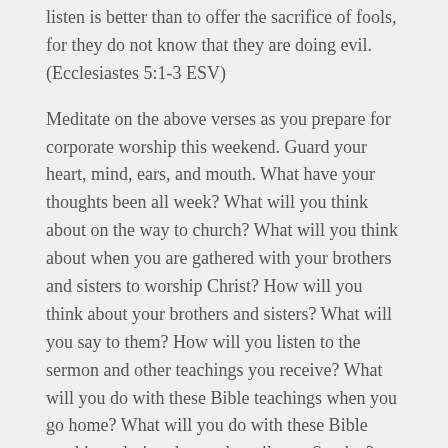listen is better than to offer the sacrifice of fools, for they do not know that they are doing evil. (Ecclesiastes 5:1-3 ESV)
Meditate on the above verses as you prepare for corporate worship this weekend. Guard your heart, mind, ears, and mouth. What have your thoughts been all week? What will you think about on the way to church? What will you think about when you are gathered with your brothers and sisters to worship Christ? How will you think about your brothers and sisters? What will you say to them? How will you listen to the sermon and other teachings you receive? What will you do with these Bible teachings when you go home? What will you do with these Bible teachings during the week until next Sunday?
Will you do all of these above to the glory of God?
VANCE COMMENTS ON THE POST
“Guard your steps when you go to the house of God. Draw near to